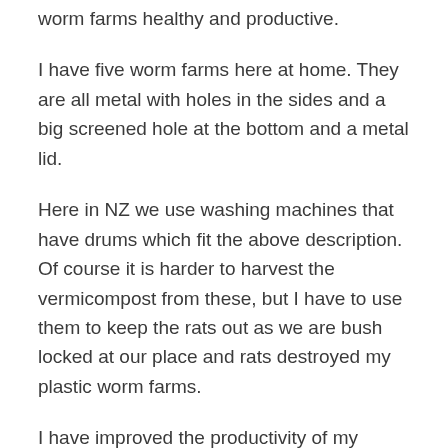worm farms healthy and productive.
I have five worm farms here at home. They are all metal with holes in the sides and a big screened hole at the bottom and a metal lid.
Here in NZ we use washing machines that have drums which fit the above description. Of course it is harder to harvest the vermicompost from these, but I have to use them to keep the rats out as we are bush locked at our place and rats destroyed my plastic worm farms.
I have improved the productivity of my farms as a result of your helpful, clear information and appreciate it so much. My worm farms produce